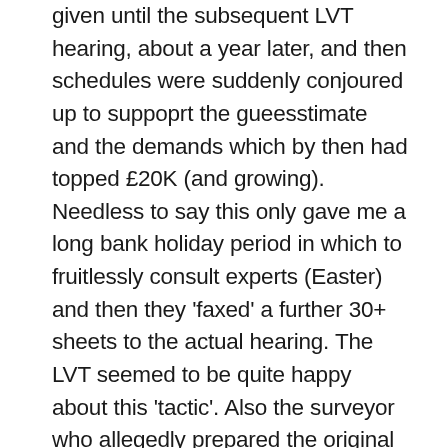given until the subsequent LVT hearing, about a year later, and then schedules were suddenly conjoured up to suppoprt the gueesstimate and the demands which by then had topped £20K (and growing). Needless to say this only gave me a long bank holiday period in which to fruitlessly consult experts (Easter) and then they 'faxed' a further 30+ sheets to the actual hearing. The LVT seemed to be quite happy about this 'tactic'. Also the surveyor who allegedly prepared the original 'guesstimate'